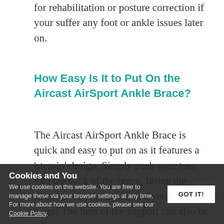for rehabilitation or posture correction if your suffer any foot or ankle issues later on.
How Easy Is It to Put On the Aircast AirSport Ankle Brace?
The Aircast AirSport Ankle Brace is quick and easy to put on as it features a 'step-in' design. Simply push your toes into the back of the brace, fasten the straps to fit your ankle, and you'll be set to go! The heel of the support can also be adjusted to your ankle size and personal preference.
Cookies and You
We use cookies on this website. You are free to manage these via your browser settings at any time. For more about how we use cookies, please see our Cookie Policy.
GOT IT!